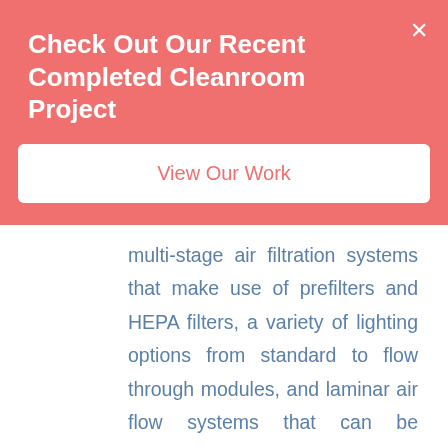Check Out Our Recent Completed Cleanroom Project
View Our Work
multi-stage air filtration systems that make use of prefilters and HEPA filters, a variety of lighting options from standard to flow through modules, and laminar air flow systems that can be integrated with existing HVAC.